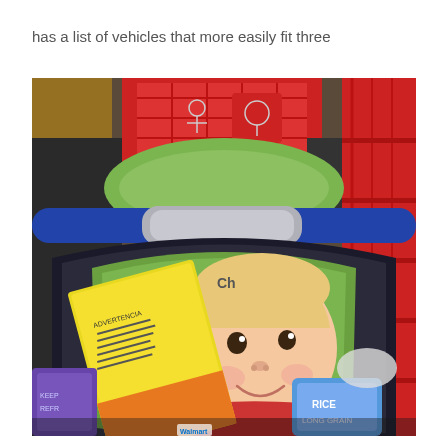has a list of vehicles that more easily fit three
[Figure (photo): A smiling baby sitting in a car seat placed inside a red shopping cart, holding a yellow cereal box. Surrounded by grocery items including a bag of rice and other products. A red cart is visible in the background.]